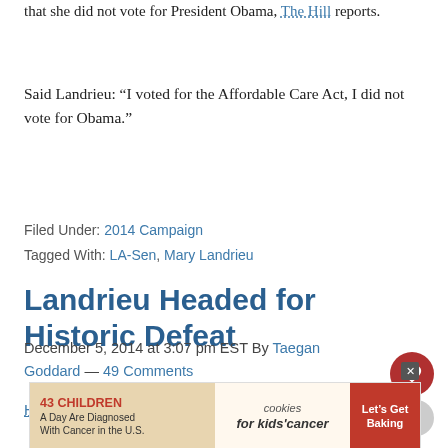that she did not vote for President Obama, The Hill reports.
Said Landrieu: “I voted for the Affordable Care Act, I did not vote for Obama.”
Filed Under: 2014 Campaign
Tagged With: LA-Sen, Mary Landrieu
Landrieu Headed for Historic Defeat
December 5, 2014 at 3:07 pm EST By Taegan Goddard — 49 Comments
Harry Enten: “William Thompson of Kansas and Wesl
[Figure (other): Advertisement banner: 43 Children A Day Are Diagnosed With Cancer in the U.S. - cookies for kids cancer - Let’s Get Baking]